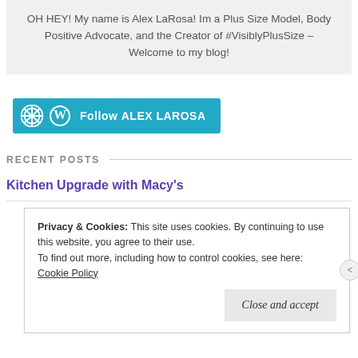OH HEY! My name is Alex LaRosa! Im a Plus Size Model, Body Positive Advocate, and the Creator of #VisiblyPlusSize – Welcome to my blog!
[Figure (other): Teal WordPress Follow button with WordPress logo and text 'Follow ALEX LAROSA']
RECENT POSTS
Kitchen Upgrade with Macy's
Privacy & Cookies: This site uses cookies. By continuing to use this website, you agree to their use. To find out more, including how to control cookies, see here: Cookie Policy
Close and accept